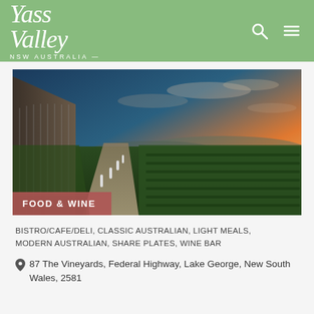Yass Valley NSW Australia
[Figure (photo): Vineyard pathway at sunset with a modern building on the left and grapevines on the right, Yass Valley NSW Australia]
FOOD & WINE
BISTRO/CAFE/DELI, CLASSIC AUSTRALIAN, LIGHT MEALS, MODERN AUSTRALIAN, SHARE PLATES, WINE BAR
87 The Vineyards, Federal Highway, Lake George, New South Wales, 2581